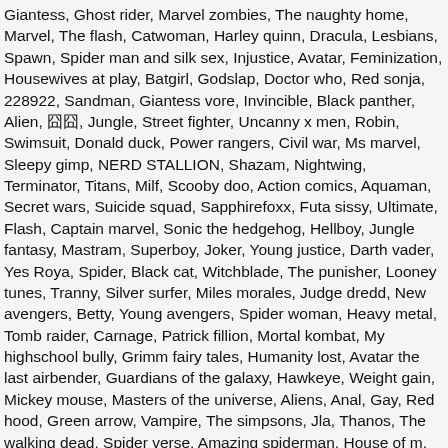Giantess, Ghost rider, Marvel zombies, The naughty home, Marvel, The flash, Catwoman, Harley quinn, Dracula, Lesbians, Spawn, Spider man and silk sex, Injustice, Avatar, Feminization, Housewives at play, Batgirl, Godslap, Doctor who, Red sonja, 228922, Sandman, Giantess vore, Invincible, Black panther, Alien, 囧囧, Jungle, Street fighter, Uncanny x men, Robin, Swimsuit, Donald duck, Power rangers, Civil war, Ms marvel, Sleepy gimp, NERD STALLION, Shazam, Nightwing, Terminator, Titans, Milf, Scooby doo, Action comics, Aquaman, Secret wars, Suicide squad, Sapphirefoxx, Futa sissy, Ultimate, Flash, Captain marvel, Sonic the hedgehog, Hellboy, Jungle fantasy, Mastram, Superboy, Joker, Young justice, Darth vader, Yes Roya, Spider, Black cat, Witchblade, The punisher, Looney tunes, Tranny, Silver surfer, Miles morales, Judge dredd, New avengers, Betty, Young avengers, Spider woman, Heavy metal, Tomb raider, Carnage, Patrick fillion, Mortal kombat, My highschool bully, Grimm fairy tales, Humanity lost, Avatar the last airbender, Guardians of the galaxy, Hawkeye, Weight gain, Mickey mouse, Masters of the universe, Aliens, Anal, Gay, Red hood, Green arrow, Vampire, The simpsons, Jla, Thanos, The walking dead, Spider verse, Amazing spiderman, House of m, Watchmen, Girls, Penthouse, The kept man strikes back, Phantom, Dceased, Ghostbusters, Kamen america, Spectacular spider man, Power girl, Xxx connect app, Zombie, Horror, Adventure time, Betty and veronica, Jund1990, The Shichinin Renfiend, Porno de spider, Justice...